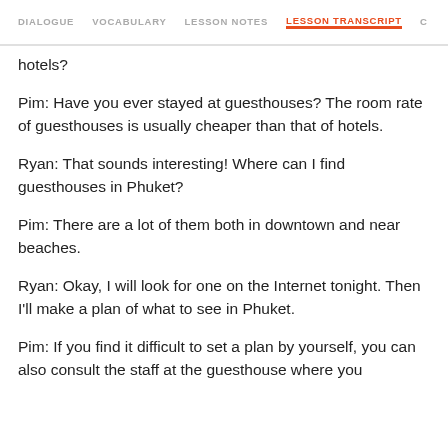DIALOGUE   VOCABULARY   LESSON NOTES   LESSON TRANSCRIPT   C
hotels?
Pim: Have you ever stayed at guesthouses? The room rate of guesthouses is usually cheaper than that of hotels.
Ryan: That sounds interesting! Where can I find guesthouses in Phuket?
Pim: There are a lot of them both in downtown and near beaches.
Ryan: Okay, I will look for one on the Internet tonight. Then I'll make a plan of what to see in Phuket.
Pim: If you find it difficult to set a plan by yourself, you can also consult the staff at the guesthouse where you